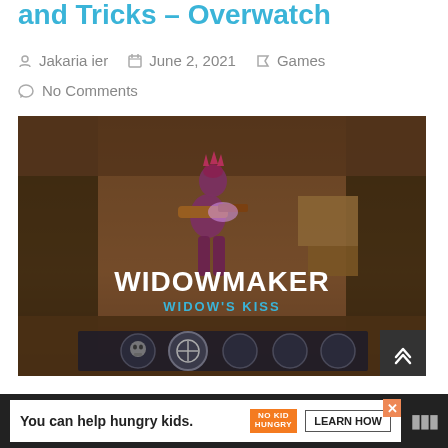and Tricks – Overwatch
Jakaria ier   June 2, 2021   Games
No Comments
[Figure (screenshot): In-game screenshot of Overwatch character Widowmaker with 'WIDOW'S KISS' text and ability icons at the bottom]
Overwatch is one of the most popular team-based shooting games in the world. The
You can help hungry kids.  NO KID HUNGRY  LEARN HOW